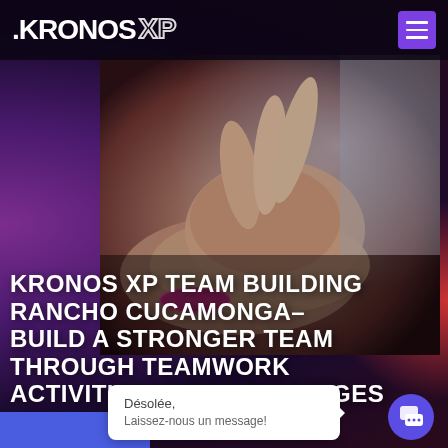[Figure (logo): KRONOS XP logo in white on dark background with hamburger menu button in purple]
[Figure (photo): Close-up photo of multiple hands stacked together in a team huddle gesture, one person wearing a pink/magenta wristband]
KRONOS XP TEAM BUILDING RANCHO CUCAMONGA– BUILD A STRONGER TEAM THROUGH TEAMWORK ACTIVITIES AND CHALLENGES
Désolée,
Laissez-nous un message!